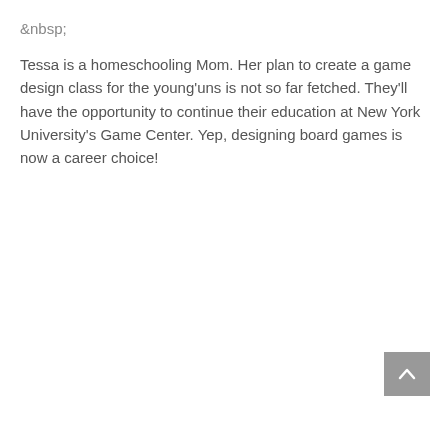&nbsp;
Tessa is a homeschooling Mom. Her plan to create a game design class for the young'uns is not so far fetched. They'll have the opportunity to continue their education at New York University's Game Center. Yep, designing board games is now a career choice!